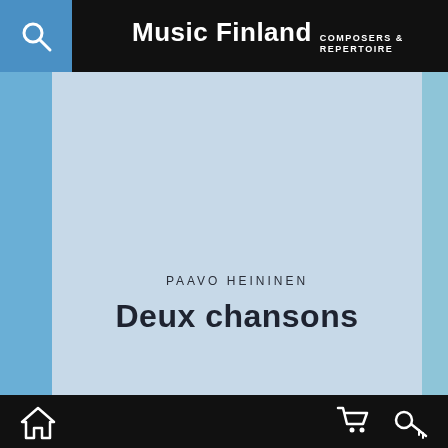Music Finland COMPOSERS & REPERTOIRE
PAAVO HEININEN
Deux chansons
Home | Cart | Key icon